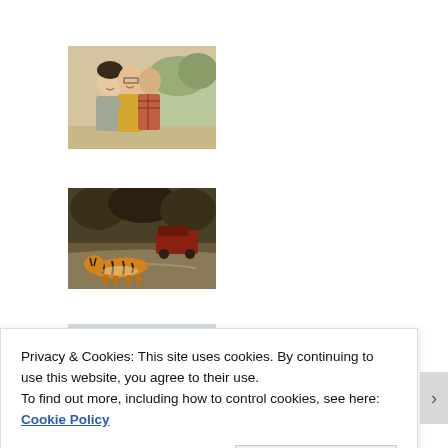[Figure (photo): Three teenagers smiling and walking together outdoors, one with arm around another]
[Figure (photo): A tiger crossing a dirt road in a forest with a vehicle in the background]
[Figure (photo): Partially visible third photo at bottom, cut off]
Privacy & Cookies: This site uses cookies. By continuing to use this website, you agree to their use.
To find out more, including how to control cookies, see here: Cookie Policy